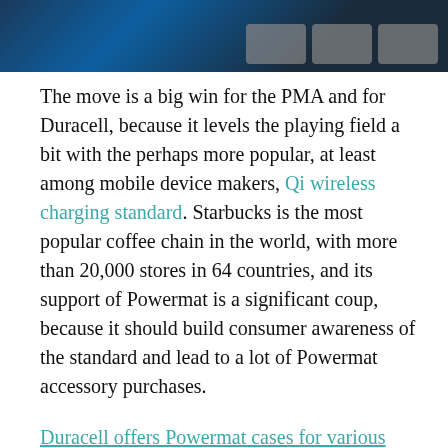[Figure (photo): Partial image visible at top of page showing dark background with photo thumbnails in upper right area]
The move is a big win for the PMA and for Duracell, because it levels the playing field a bit with the perhaps more popular, at least among mobile device makers, Qi wireless charging standard. Starbucks is the most popular coffee chain in the world, with more than 20,000 stores in 64 countries, and its support of Powermat is a significant coup, because it should build consumer awareness of the standard and lead to a lot of Powermat accessory purchases.
Duracell offers Powermat cases for various iPhones and Samsung devices, and they start around $20. Personally, I'm not deterred by the price of the charging cases; $20 isn't much to pay for the potential convenience. I am, however, turned off by the